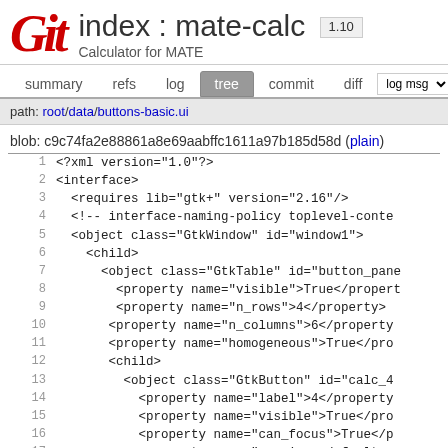index : mate-calc  Calculator for MATE
summary  refs  log  tree  commit  diff
path: root/data/buttons-basic.ui
blob: c9c74fa2e88861a8e69aabffc1611a97b185d58d (plain)
1  <?xml version="1.0"?>
2  <interface>
3    <requires lib="gtk+" version="2.16"/>
4    <!-- interface-naming-policy toplevel-conte
5    <object class="GtkWindow" id="window1">
6      <child>
7        <object class="GtkTable" id="button_pane
8          <property name="visible">True</propert
9          <property name="n_rows">4</property>
10         <property name="n_columns">6</property
11         <property name="homogeneous">True</pro
12         <child>
13           <object class="GtkButton" id="calc_4
14             <property name="label">4</property
15             <property name="visible">True</pro
16             <property name="can_focus">True</p
17             <property name="receives_default